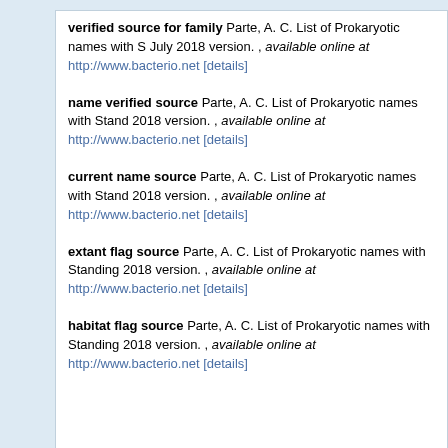verified source for family Parte, A. C. List of Prokaryotic names with S... July 2018 version. , available online at http://www.bacterio.net [details]
name verified source Parte, A. C. List of Prokaryotic names with Stand... 2018 version. , available online at http://www.bacterio.net [details]
current name source Parte, A. C. List of Prokaryotic names with Stand... 2018 version. , available online at http://www.bacterio.net [details]
extant flag source Parte, A. C. List of Prokaryotic names with Standing... 2018 version. , available online at http://www.bacterio.net [details]
habitat flag source Parte, A. C. List of Prokaryotic names with Standing... 2018 version. , available online at http://www.bacterio.net [details]
Website and databases developed and hosted by VLIZ · Page generated 202...
[Figure (logo): LifeWatch Belgium logo with orange and green leaf/fruit design, text 'LifeWatch' in blue and 'BELGIUM' below, followed by 'This service is powered by LifeWa...']